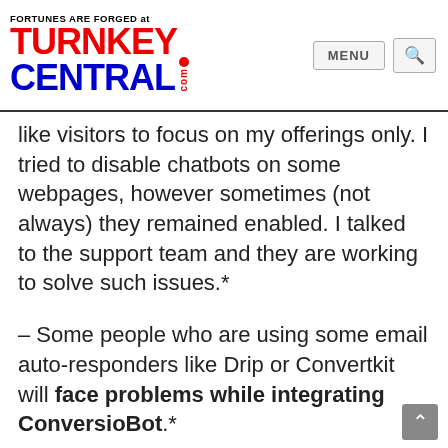FORTUNES ARE FORGED at TURNKEYCENTRAL.com — MENU [search]
like visitors to focus on my offerings only. I tried to disable chatbots on some webpages, however sometimes (not always) they remained enabled. I talked to the support team and they are working to solve such issues.*
– Some people who are using some email auto-responders like Drip or Convertkit will face problems while integrating ConversioBot.*
Buy ConversioBot OTO with the following link...